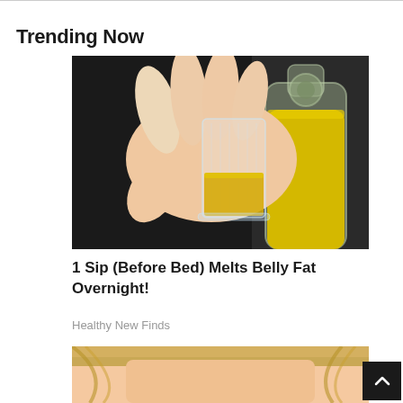Trending Now
[Figure (photo): A hand holding a small shot glass filled with yellow liquid, next to a large glass bottle also containing yellow liquid, against a dark background.]
1 Sip (Before Bed) Melts Belly Fat Overnight!
Healthy New Finds
[Figure (photo): Partial view of a person's face with blonde hair, cropped at the bottom of the page.]